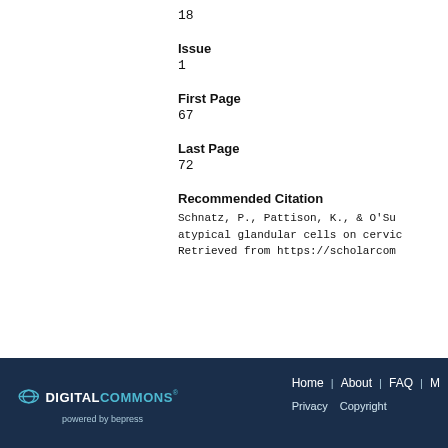18
Issue
1
First Page
67
Last Page
72
Recommended Citation
Schnatz, P., Pattison, K., & O'Su atypical glandular cells on cervic Retrieved from https://scholarcom
DIGITAL COMMONS powered by bepress | Home | About | FAQ | Privacy | Copyright